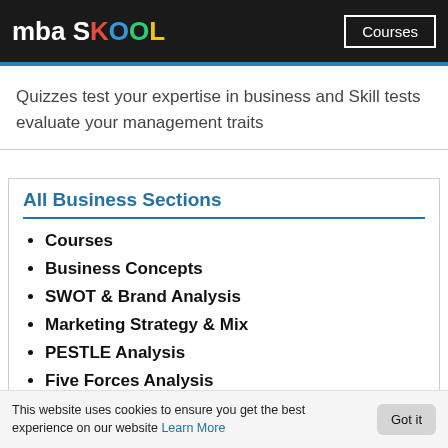mba SKOOL | Courses
Quizzes test your expertise in business and Skill tests evaluate your management traits
All Business Sections
Courses
Business Concepts
SWOT & Brand Analysis
Marketing Strategy & Mix
PESTLE Analysis
Five Forces Analysis
Top Brand Lists
Articles
GD Topics
This website uses cookies to ensure you get the best experience on our website Learn More  Got it